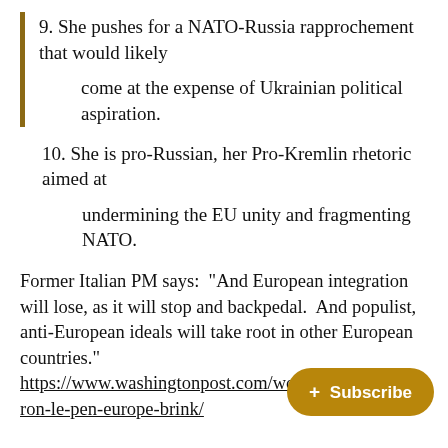9. She pushes for a NATO-Russia rapprochement that would likely come at the expense of Ukrainian political aspiration.
10. She is pro-Russian, her Pro-Kremlin rhetoric aimed at undermining the EU unity and fragmenting NATO.
Former Italian PM says:  “And European integration will lose, as it will stop and backpedal.  And populist, anti-European ideals will take root in other European countries.” https://www.washingtonpost.com/wo... ron-le-pen-europe-brink/